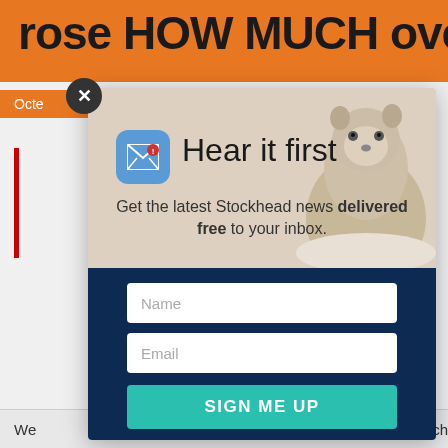rose HOW MUCH overnight?
Octe
[Figure (screenshot): Email newsletter signup modal popup with marmot/groundhog image background, blue email icon, title 'Hear it first', subtitle 'Get the latest Stockhead news delivered free to your inbox.', name and email input fields, and a teal SIGN ME UP button on a dark navy background]
Hear it first
Get the latest Stockhead news delivered free to your inbox.
Name
Email
SIGN ME UP
We